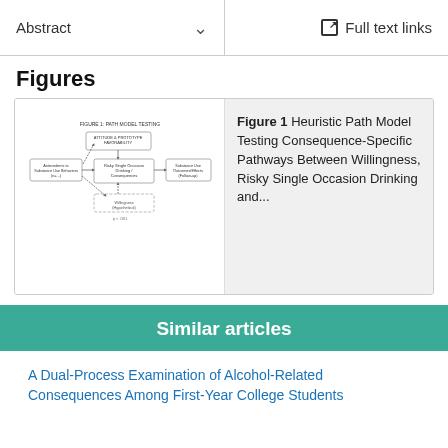Abstract  ∨    Full text links
Figures
[Figure (flowchart): Heuristic path model diagram showing consequence-specific pathways between willingness, risky single occasion drinking and related outcomes. Contains boxes connected by arrows in a flowchart layout.]
Figure 1 Heuristic Path Model Testing Consequence-Specific Pathways Between Willingness, Risky Single Occasion Drinking and...
Similar articles
A Dual-Process Examination of Alcohol-Related Consequences Among First-Year College Students